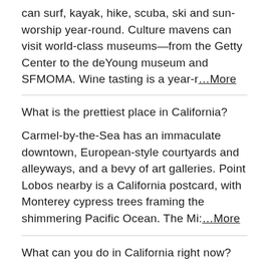can surf, kayak, hike, scuba, ski and sun-worship year-round. Culture mavens can visit world-class museums—from the Getty Center to the deYoung museum and SFMOMA. Wine tasting is a year-r …More
What is the prettiest place in California?
Carmel-by-the-Sea has an immaculate downtown, European-style courtyards and alleyways, and a bevy of art galleries. Point Lobos nearby is a California postcard, with Monterey cypress trees framing the shimmering Pacific Ocean. The Mi: …More
What can you do in California right now?
Year-round activities in California include wine tasting in Napa and Sonoma counties; driving down 600 coast-hugging miles (900 kilometers) on the scenic Pacific Coast Highway, also known as